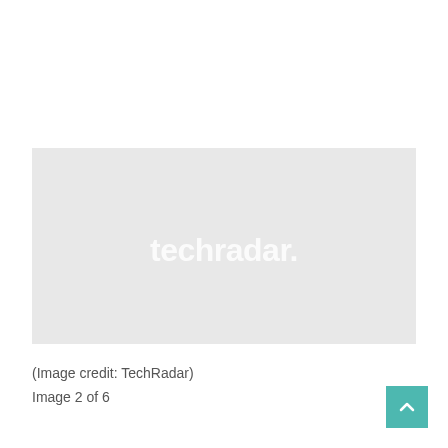[Figure (photo): A light gray placeholder image with the TechRadar logo watermark centered in white text]
(Image credit: TechRadar)
Image 2 of 6